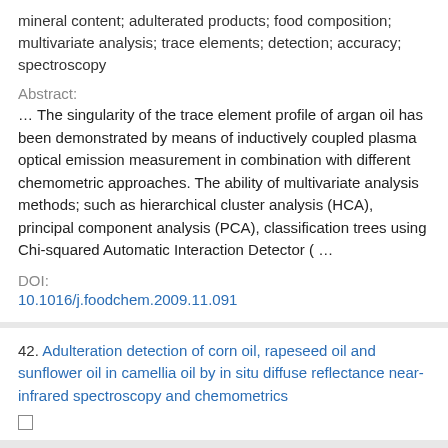mineral content; adulterated products; food composition; multivariate analysis; trace elements; detection; accuracy; spectroscopy
Abstract:
… The singularity of the trace element profile of argan oil has been demonstrated by means of inductively coupled plasma optical emission measurement in combination with different chemometric approaches. The ability of multivariate analysis methods; such as hierarchical cluster analysis (HCA), principal component analysis (PCA), classification trees using Chi-squared Automatic Interaction Detector ( …
DOI:
10.1016/j.foodchem.2009.11.091
42. Adulteration detection of corn oil, rapeseed oil and sunflower oil in camellia oil by in situ diffuse reflectance near-infrared spectroscopy and chemometrics